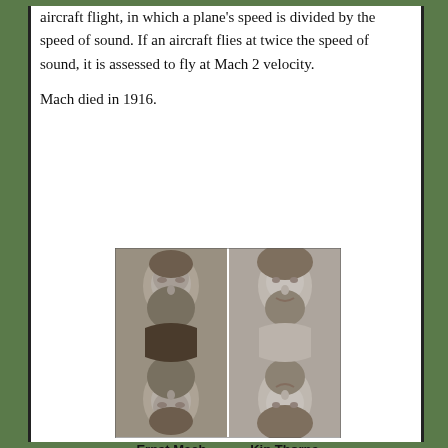aircraft flight, in which a plane's speed is divided by the speed of sound. If an aircraft flies at twice the speed of sound, it is assessed to fly at Mach 2 velocity.
Mach died in 1916.
[Figure (photo): Four portrait photos arranged in a 2x2 grid. Top row: Ernst Mach (older bearded man, black and white) and Kip Thorne (younger man with beard, black and white). Bottom row: same photos mirrored/flipped upside down.]
Ernst Mach    Kip Thorne